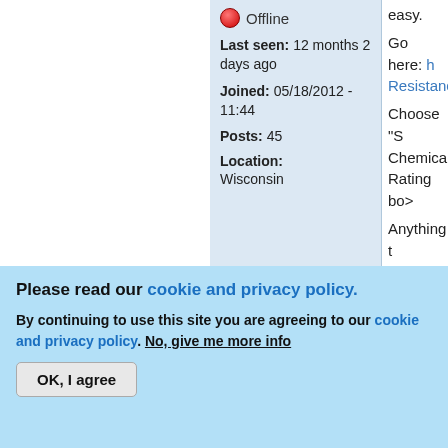Offline
Last seen: 12 months 2 days ago
Joined: 05/18/2012 - 11:44
Posts: 45
Location: Wisconsin
easy.
Go here: h Resistance
Choose "S Chemical Rating box
Anything t have a pre just a matt what is fas
Top
Wed, 06/12/2013 - 15:18
Please read our cookie and privacy policy.
By continuing to use this site you are agreeing to our cookie and privacy policy. No, give me more info
OK, I agree